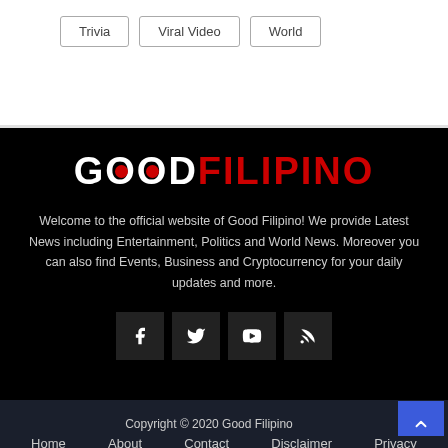Trivia
Viral Video
World
[Figure (logo): Good Filipino logo — 'GOOD' in white bold text with red dot replacing the O, 'FILIPINO' in red bold text, on black background]
Welcome to the official website of Good Filipino! We provide Latest News including Entertainment, Politics and World News. Moreover you can also find Events, Business and Cryptocurrency for your daily updates and more.
[Figure (other): Social media icon buttons: Facebook (f), Twitter (bird), YouTube (play button), RSS (signal) — dark square buttons on black background]
Copyright © 2020 Good Filipino
Home   About   Contact   Disclaimer   Privacy